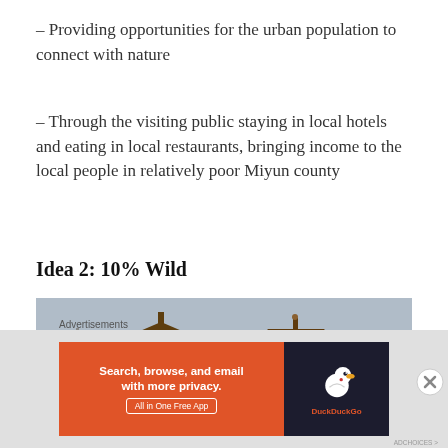– Providing opportunities for the urban population to connect with nature
– Through the visiting public staying in local hotels and eating in local restaurants, bringing income to the local people in relatively poor Miyun county
Idea 2: 10% Wild
[Figure (photo): Photo of traditional Chinese pagoda/temple buildings with ornate roofs against a grey sky, with trees in the foreground]
Advertisements
[Figure (screenshot): DuckDuckGo advertisement banner: 'Search, browse, and email with more privacy. All in One Free App' with DuckDuckGo duck logo on dark background]